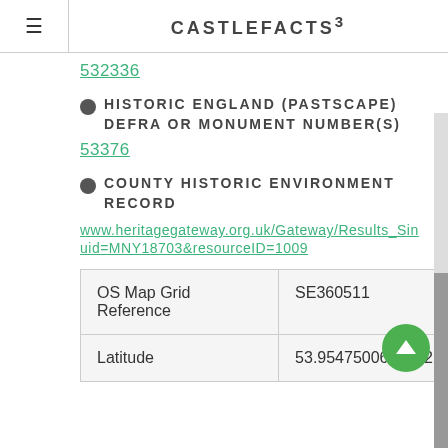CASTLEFACTS³
532336
HISTORIC ENGLAND (PASTSCAPE) DEFRA OR MONUMENT NUMBER(S)
53376
COUNTY HISTORIC ENVIRONMENT RECORD
www.heritagegateway.org.uk/Gateway/Results_Single.aspx?uid=MNY18703&resourceID=1009
|  |  |
| --- | --- |
| OS Map Grid Reference | SE360511 |
| Latitude | 53.9547500610352 |